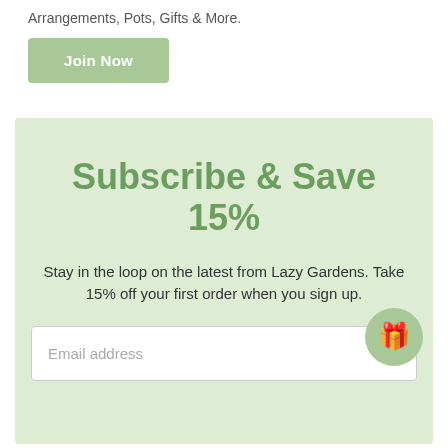Arrangements, Pots, Gifts & More.
Join Now
Subscribe & Save 15%
Stay in the loop on the latest from Lazy Gardens. Take 15% off your first order when you sign up.
Email address